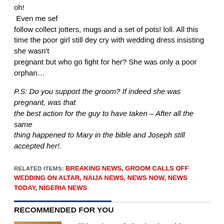oh!
 Even me sef
follow collect jotters, mugs and a set of pots! loll. All this time the poor girl still dey cry with wedding dress insisting she wasn't
pregnant but who go fight for her? She was only a poor orphan…
P.S: Do you support the groom? If indeed she was pregnant, was that the best action for the guy to have taken – After all the same thing happened to Mary in the bible and Joseph still accepted her!.
RELATED ITEMS: BREAKING NEWS, GROOM CALLS OFF WEDDING ON ALTAR, NAIJA NEWS, NEWS NOW, NEWS TODAY, NIGERIA NEWS
RECOMMENDED FOR YOU
I will hand over federal universities to states if elected – Atiku